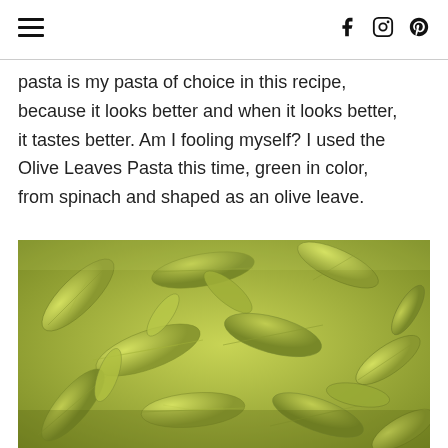Navigation header with hamburger menu and social icons (Facebook, Instagram, Pinterest)
pasta is my pasta of choice in this recipe, because it looks better and when it looks better, it tastes better. Am I fooling myself? I used the Olive Leaves Pasta this time, green in color, from spinach and shaped as an olive leave.
[Figure (photo): Close-up photo of green olive leaf-shaped pasta pieces, colored green from spinach, scattered and piled together]